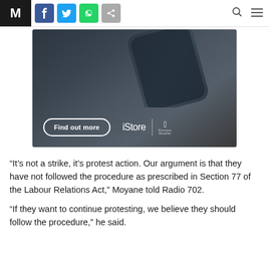M | f | Twitter | WhatsApp | Share | Search | Menu
[Figure (photo): Dark smartphone on dark background with iStore advertisement showing 'Find out more' button and iStore Apple Premium Reseller logo]
“It’s not a strike, it’s protest action. Our argument is that they have not followed the procedure as prescribed in Section 77 of the Labour Relations Act,” Moyane told Radio 702.
“If they want to continue protesting, we believe they should follow the procedure,” he said.